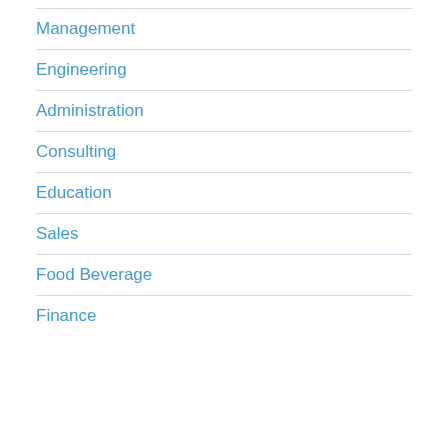Management
Engineering
Administration
Consulting
Education
Sales
Food Beverage
Finance